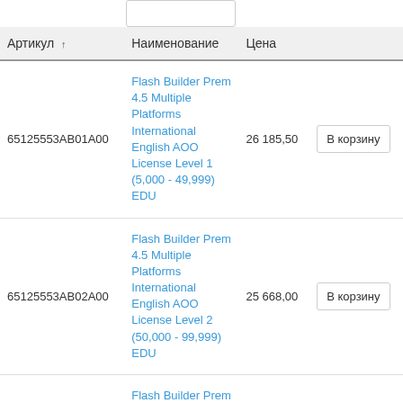| Артикул ↑ | Наименование | Цена |  |
| --- | --- | --- | --- |
| 65125553AB01A00 | Flash Builder Prem 4.5 Multiple Platforms International English AOO License Level 1 (5,000 - 49,999) EDU | 26 185,50 | В корзину |
| 65125553AB02A00 | Flash Builder Prem 4.5 Multiple Platforms International English AOO License Level 2 (50,000 - 99,999) EDU | 25 668,00 | В корзину |
| 65125553AB03A00 | Flash Builder Prem 4.5 Multiple Platforms International English AOO License Level 3 | 25 150,50 | В корзину |